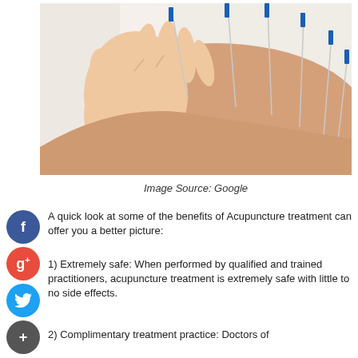[Figure (photo): Close-up photo of a hand inserting acupuncture needles with blue tips into a person's back. Multiple needles are already inserted at various angles.]
Image Source: Google
A quick look at some of the benefits of Acupuncture treatment can offer you a better picture:
1) Extremely safe: When performed by qualified and trained practitioners, acupuncture treatment is extremely safe with little to no side effects.
2) Complimentary treatment practice: Doctors of